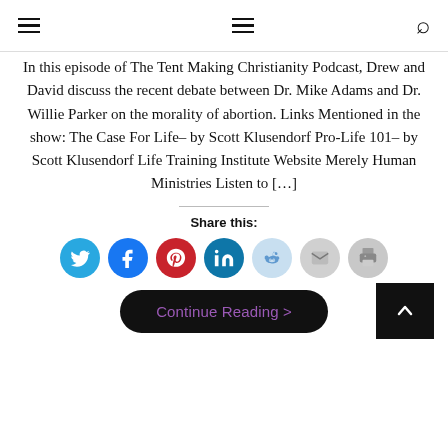Navigation menu icons and search icon
In this episode of The Tent Making Christianity Podcast, Drew and David discuss the recent debate between Dr. Mike Adams and Dr. Willie Parker on the morality of abortion. Links Mentioned in the show: The Case For Life– by Scott Klusendorf Pro-Life 101– by Scott Klusendorf Life Training Institute Website Merely Human Ministries Listen to […]
Share this:
[Figure (infographic): Social share buttons: Twitter, Facebook, Pinterest, LinkedIn, Reddit, Email, Print]
Continue Reading >